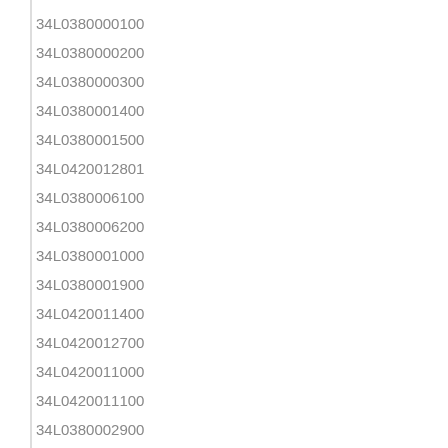34L0380000100
34L0380000200
34L0380000300
34L0380001400
34L0380001500
34L0420012801
34L0380006100
34L0380006200
34L0380001000
34L0380001900
34L0420011400
34L0420012700
34L0420011000
34L0420011100
34L0380002900